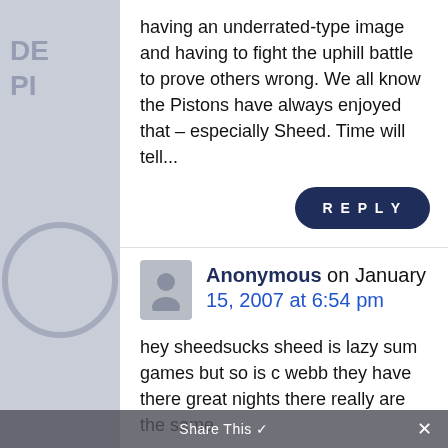having an underrated-type image and having to fight the uphill battle to prove others wrong. We all know the Pistons have always enjoyed that – especially Sheed. Time will tell...
REPLY
Anonymous on January 15, 2007 at 6:54 pm
hey sheedsucks sheed is lazy sum games but so is c webb they have there great nights there really are the same